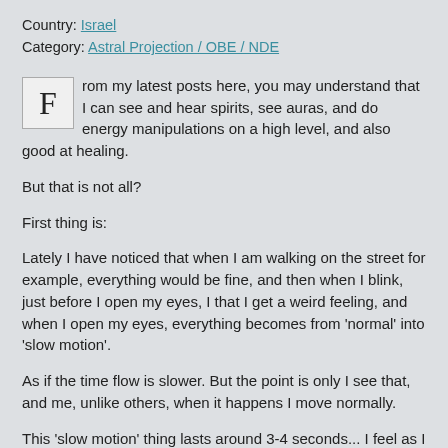Country: Israel
Category: Astral Projection / OBE / NDE
From my latest posts here, you may understand that I can see and hear spirits, see auras, and do energy manipulations on a high level, and also good at healing.
But that is not all?
First thing is:
Lately I have noticed that when I am walking on the street for example, everything would be fine, and then when I blink, just before I open my eyes, I that I get a weird feeling, and when I open my eyes, everything becomes from 'normal' into 'slow motion'.
As if the time flow is slower. But the point is only I see that, and me, unlike others, when it happens I move normally.
This 'slow motion' thing lasts around 3-4 seconds... I feel as I am going crazy, but I have been told it is just adrenalin or something like that as if my brain works faster and this is the reason it happens.